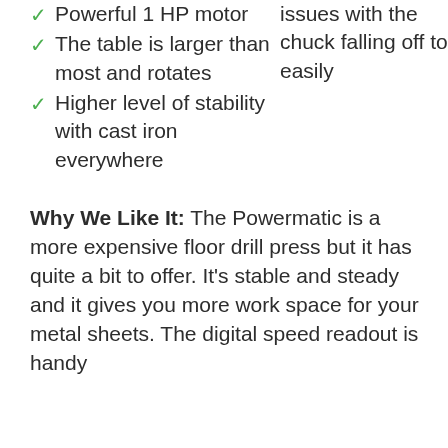Powerful 1 HP motor
The table is larger than most and rotates
Higher level of stability with cast iron everywhere
issues with the chuck falling off too easily
Why We Like It: The Powermatic is a more expensive floor drill press but it has quite a bit to offer. It's stable and steady and it gives you more work space for your metal sheets. The digital speed readout is handy